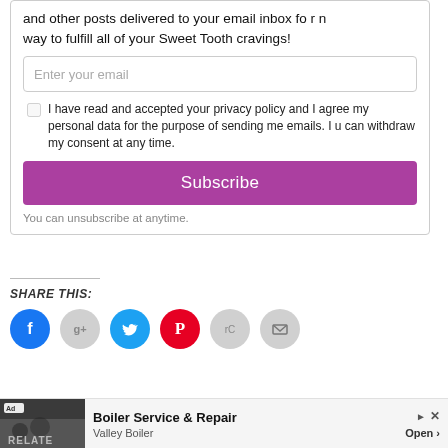and other posts delivered to your email inbox fo r n way to fulfill all of your Sweet Tooth cravings!
Enter your email
I have read and accepted your privacy policy and I agree my personal data for the purpose of sending me emails. I u can withdraw my consent at any time.
Subscribe
You can unsubscribe at anytime.
SHARE THIS:
[Figure (infographic): Row of social sharing icon circles: Facebook (blue), Google+ (grey), Twitter (cyan/teal), Pinterest (red), Reddit (grey), Email (grey)]
[Figure (screenshot): Ad banner: 'Ad' badge with photo of people, text 'Boiler Service & Repair', 'Valley Boiler', 'Open >' button, with close/arrow icons]
RELATE